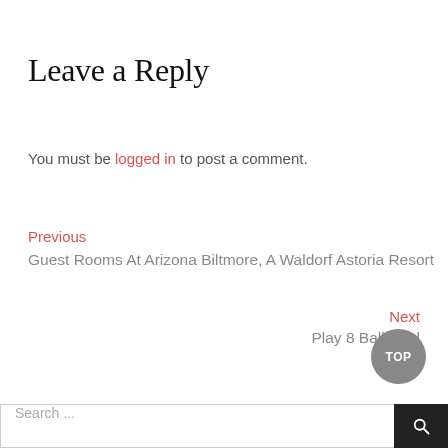Leave a Reply
You must be logged in to post a comment.
Previous
Guest Rooms At Arizona Biltmore, A Waldorf Astoria Resort
Next
Play 8 Ball Pool
TOP
Search ...